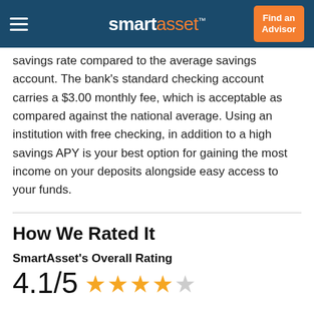smartasset™  Find an Advisor
savings rate compared to the average savings account. The bank's standard checking account carries a $3.00 monthly fee, which is acceptable as compared against the national average. Using an institution with free checking, in addition to a high savings APY is your best option for gaining the most income on your deposits alongside easy access to your funds.
How We Rated It
SmartAsset's Overall Rating
4.1/5 ★★★★☆